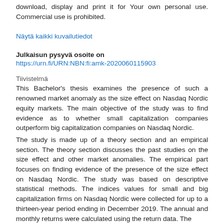download, display and print it for Your own personal use. Commercial use is prohibited.
Näytä kaikki kuvailutiedot
Julkaisun pysyvä osoite on
https://urn.fi/URN:NBN:fi:amk-2020060115903
Tiivistelmä
This Bachelor's thesis examines the presence of such a renowned market anomaly as the size effect on Nasdaq Nordic equity markets. The main objective of the study was to find evidence as to whether small capitalization companies outperform big capitalization companies on Nasdaq Nordic.
The study is made up of a theory section and an empirical section. The theory section discusses the past studies on the size effect and other market anomalies. The empirical part focuses on finding evidence of the presence of the size effect on Nasdaq Nordic. The study was based on descriptive statistical methods. The indices values for small and big capitalization firms on Nasdaq Nordic were collected for up to a thirteen-year period ending in December 2019. The annual and monthly returns were calculated using the return data. The